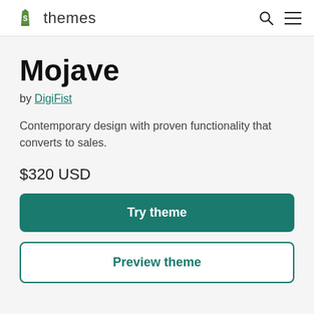Shopify themes
Mojave
by DigiFist
Contemporary design with proven functionality that converts to sales.
$320 USD
Try theme
Preview theme